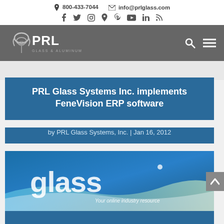📞 800-433-7044  ✉ info@prlglass.com
[Figure (logo): PRL Glass & Aluminum logo with stylized tornado/shield icon on dark gray navigation bar]
PRL Glass Systems Inc. implements FeneVision ERP software
by PRL Glass Systems, Inc. | Jan 16, 2012
[Figure (illustration): Glass.com promotional banner with large white 'glass' text and tagline 'Your online industry resource' on blue gradient background with wave design]